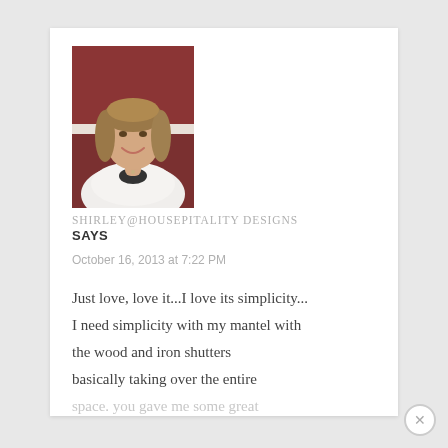[Figure (photo): Profile photo of a woman with shoulder-length blonde/brown hair, wearing a white top, standing in front of a dark red/maroon wall]
SHIRLEY@HOUSEPITALITY DESIGNS
SAYS
October 16, 2013 at 7:22 PM
Just love, love it...I love its simplicity... I need simplicity with my mantel with the wood and iron shutters basically taking over the entire space. you gave me some great inspiration, as always!